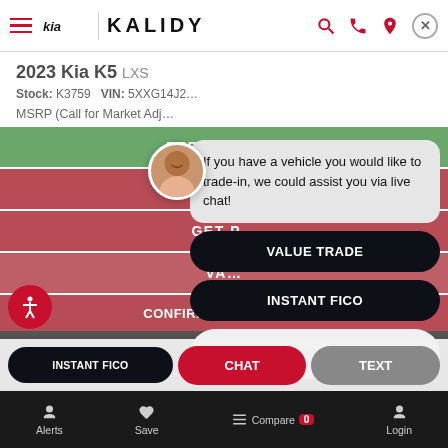Kia Kalidy — dealership website header with hamburger menu, Kia logo, KALIDY wordmark, search/phone/location icons, and close button
2023 Kia K5 LXS
Stock: K3759   VIN: 5XXG14J2...
MSRP (Call for Market Adj...)
PERSONALIZE
APPLY
GET P...
VA...
CONFIRM AVAILABILITY
[Figure (screenshot): Chat widget overlay with agent avatar, speech bubble saying 'If you have a vehicle you would like to trade-in, we could assist you via live chat!', VALUE TRADE button, INSTANT FICO button, and Enter your message input field]
If you have a vehicle you would like to trade-in, we could assist you via live chat!
VALUE TRADE
INSTANT FICO
Enter your message
INSTANT FICO   CHAT   TEXT
Alerts   Save   Compare 0   Login